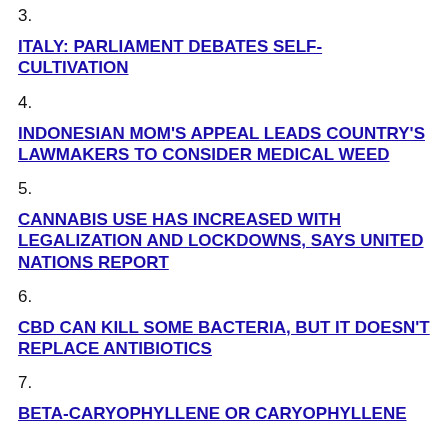3.
ITALY: PARLIAMENT DEBATES SELF-CULTIVATION
4.
INDONESIAN MOM'S APPEAL LEADS COUNTRY'S LAWMAKERS TO CONSIDER MEDICAL WEED
5.
CANNABIS USE HAS INCREASED WITH LEGALIZATION AND LOCKDOWNS, SAYS UNITED NATIONS REPORT
6.
CBD CAN KILL SOME BACTERIA, BUT IT DOESN'T REPLACE ANTIBIOTICS
7.
BETA-CARYOPHYLLENE OR CARYOPHYLLENE